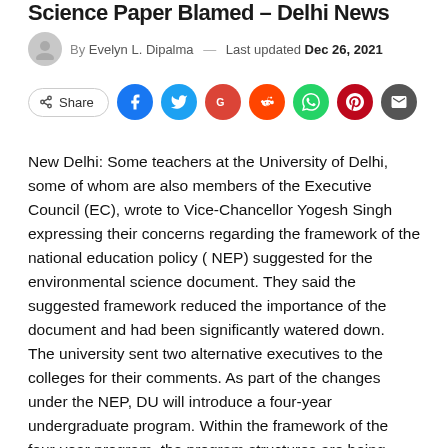Science Paper Blamed – Delhi News
By Evelyn L. Dipalma — Last updated Dec 26, 2021
[Figure (infographic): Social share buttons row: Share button, Facebook, Twitter, Google+, Reddit, WhatsApp, Pinterest, Email icons]
New Delhi: Some teachers at the University of Delhi, some of whom are also members of the Executive Council (EC), wrote to Vice-Chancellor Yogesh Singh expressing their concerns regarding the framework of the national education policy ( NEP) suggested for the environmental science document. They said the suggested framework reduced the importance of the document and had been significantly watered down. The university sent two alternative executives to the colleges for their comments. As part of the changes under the NEP, DU will introduce a four-year undergraduate program. Within the framework of the four-year program, the program structures are being revised.